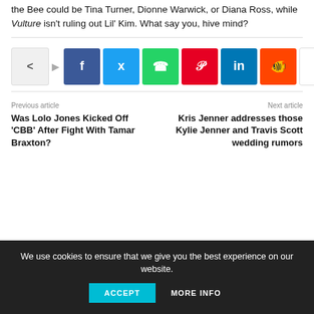the Bee could be Tina Turner, Dionne Warwick, or Diana Ross, while Vulture isn't ruling out Lil' Kim. What say you, hive mind?
[Figure (other): Social media share buttons: share icon, Facebook, Twitter, WhatsApp, Pinterest, LinkedIn, Reddit, and a more (+) button]
Previous article
Was Lolo Jones Kicked Off 'CBB' After Fight With Tamar Braxton?
Next article
Kris Jenner addresses those Kylie Jenner and Travis Scott wedding rumors
We use cookies to ensure that we give you the best experience on our website.
ACCEPT    MORE INFO